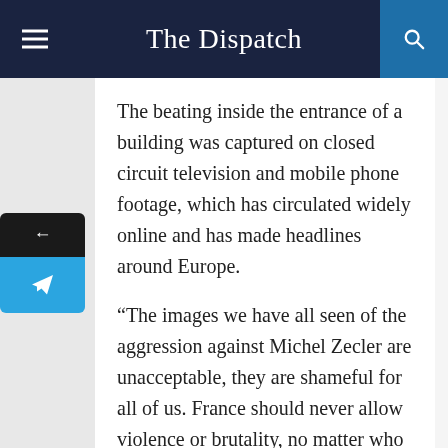The Dispatch
The beating inside the entrance of a building was captured on closed circuit television and mobile phone footage, which has circulated widely online and has made headlines around Europe.
“The images we have all seen of the aggression against Michel Zecler are unacceptable, they are shameful for all of us. France should never allow violence or brutality, no matter who it comes from. France should never let hate or racism